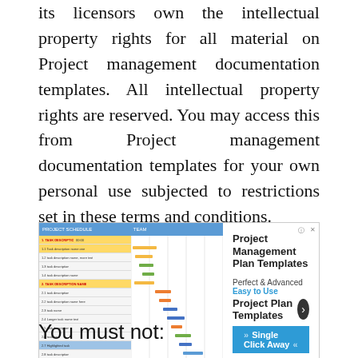its licensors own the intellectual property rights for all material on Project management documentation templates. All intellectual property rights are reserved. You may access this from Project management documentation templates for your own personal use subjected to restrictions set in these terms and conditions.
[Figure (screenshot): Advertisement banner showing a Gantt chart/project management spreadsheet on the left and 'Project Management Plan Templates – Perfect & Advanced Easy to Use – Project Plan Templates – Single Click Away' text on the right with a blue arrow button.]
You must not: